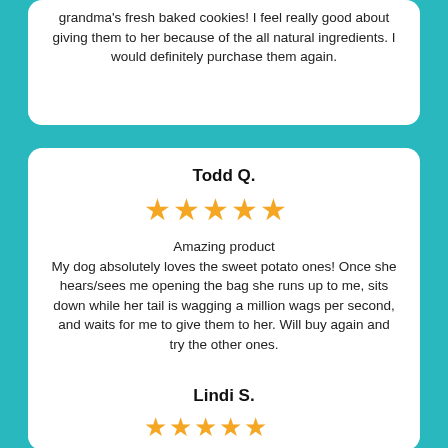grandma's fresh baked cookies! I feel really good about giving them to her because of the all natural ingredients. I would definitely purchase them again.
Todd Q.
[Figure (other): 5 gold stars rating]
Amazing product
My dog absolutely loves the sweet potato ones! Once she hears/sees me opening the bag she runs up to me, sits down while her tail is wagging a million wags per second, and waits for me to give them to her. Will buy again and try the other ones.
Lindi S.
[Figure (other): 5 gold stars rating]
My dog absolutely loves these.
My dog absolutely loves these. ❤❤